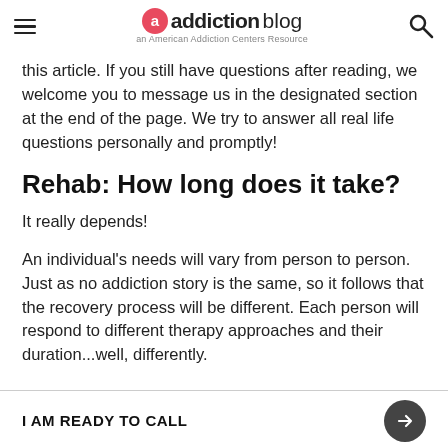addiction blog — an American Addiction Centers Resource
this article. If you still have questions after reading, we welcome you to message us in the designated section at the end of the page. We try to answer all real life questions personally and promptly!
Rehab: How long does it take?
It really depends!
An individual's needs will vary from person to person. Just as no addiction story is the same, so it follows that the recovery process will be different. Each person will respond to different therapy approaches and their duration...well, differently.
I AM READY TO CALL